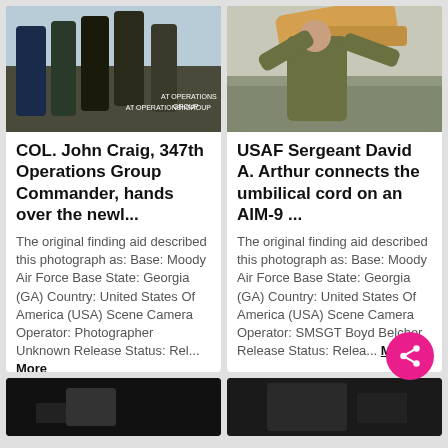[Figure (photo): Military personnel in uniform and civilian clothing in a handover ceremony outdoors, with a sign reading AT OPERATIONS GROUP in background]
[Figure (photo): USAF Sergeant in camouflage uniform working on an aircraft, connecting an umbilical cord on an AIM-9 missile]
COL. John Craig, 347th Operations Group Commander, hands over the newl...
USAF Sergeant David A. Arthur connects the umbilical cord on an AIM-9 ...
The original finding aid described this photograph as: Base: Moody Air Force Base State: Georgia (GA) Country: United States Of America (USA) Scene Camera Operator: Photographer Unknown Release Status: Rel... More
The original finding aid described this photograph as: Base: Moody Air Force Base State: Georgia (GA) Country: United States Of America (USA) Scene Camera Operator: SMSGT Boyd Belcher Release Status: Relea... More
[Figure (photo): Partial dark photograph at bottom left, content not fully visible]
[Figure (photo): Partial dark photograph at bottom right, content not fully visible]